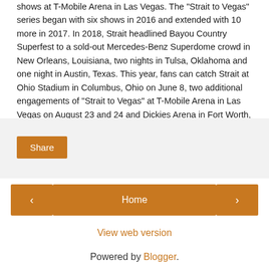shows at T-Mobile Arena in Las Vegas. The "Strait to Vegas" series began with six shows in 2016 and extended with 10 more in 2017. In 2018, Strait headlined Bayou Country Superfest to a sold-out Mercedes-Benz Superdome crowd in New Orleans, Louisiana, two nights in Tulsa, Oklahoma and one night in Austin, Texas. This year, fans can catch Strait at Ohio Stadium in Columbus, Ohio on June 8, two additional engagements of "Strait to Vegas" at T-Mobile Arena in Las Vegas on August 23 and 24 and Dickies Arena in Fort Worth, Texas on November 22 and, due to overwhelming demand, a second show on November 23, with tickets on sale now at ticketmaster.com. For more information, visit www.GeorgeStrait.com.
[Figure (other): Share button section with light gray background]
Home | View web version | Powered by Blogger.